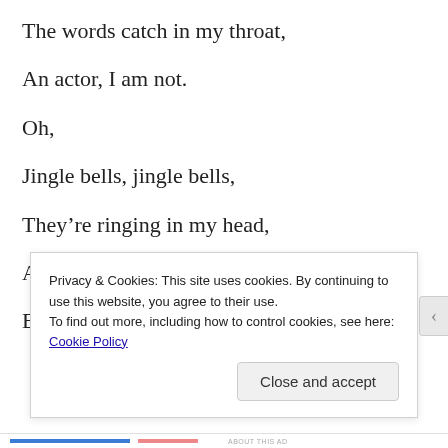The words catch in my throat,
An actor, I am not.
Oh,
Jingle bells, jingle bells,
They’re ringing in my head,
At practice I was doing fine,
B
Privacy & Cookies: This site uses cookies. By continuing to use this website, you agree to their use.
To find out more, including how to control cookies, see here: Cookie Policy
Close and accept